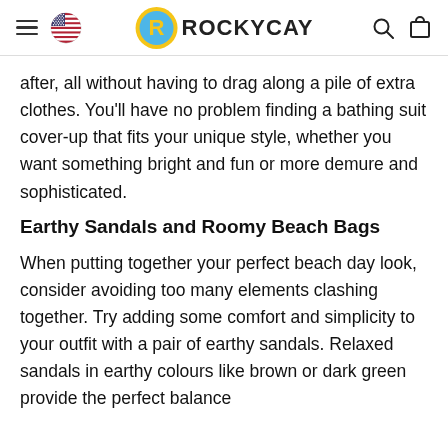ROCKYCAY
after, all without having to drag along a pile of extra clothes. You'll have no problem finding a bathing suit cover-up that fits your unique style, whether you want something bright and fun or more demure and sophisticated.
Earthy Sandals and Roomy Beach Bags
When putting together your perfect beach day look, consider avoiding too many elements clashing together. Try adding some comfort and simplicity to your outfit with a pair of earthy sandals. Relaxed sandals in earthy colours like brown or dark green provide the perfect balance